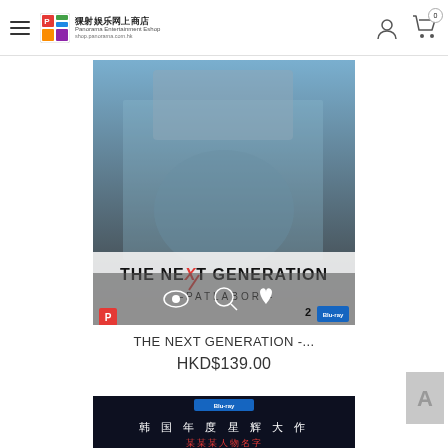猓射娱乐网上商店 Panorama Entertainment Eshop shop.panorama.com.hk
[Figure (photo): Product image of 'THE NEXT GENERATION -PATLABOR-' Blu-ray with cast photo on cover, overlaid with quick-view/zoom/wishlist icons and Panorama/Blu-ray logos]
THE NEXT GENERATION -...
HKD$139.00
[Figure (photo): Bottom portion of a second product Blu-ray with Korean/Chinese text on a dark background]